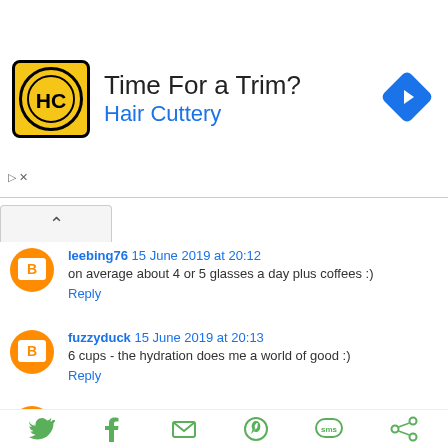[Figure (infographic): Hair Cuttery advertisement banner with yellow logo, 'Time For a Trim?' headline, blue 'Hair Cuttery' subtitle, and a blue diamond-shaped navigation arrow icon on the right.]
leebing76 15 June 2019 at 20:12
on average about 4 or 5 glasses a day plus coffees :)
Reply
fuzzyduck 15 June 2019 at 20:13
6 cups - the hydration does me a world of good :)
Reply
Sarah 15 June 2019 at 20:23